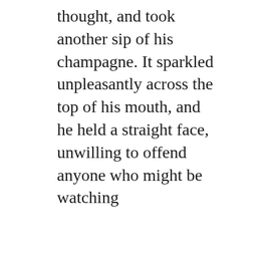thought, and took another sip of his champagne. It sparkled unpleasantly across the top of his mouth, and he held a straight face, unwilling to offend anyone who might be watching